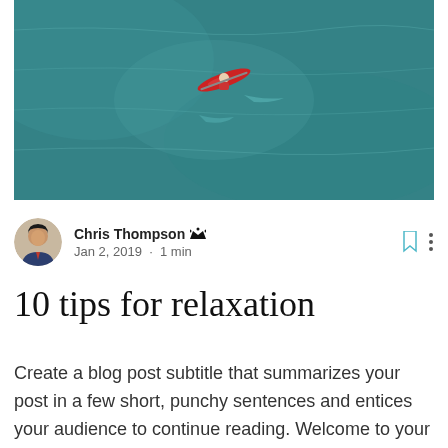[Figure (photo): Aerial view of a person kayaking on turquoise/teal water, shot from above. The kayak is red and the water is a deep blue-green color.]
Chris Thompson 👑
Jan 2, 2019 · 1 min
10 tips for relaxation
Create a blog post subtitle that summarizes your post in a few short, punchy sentences and entices your audience to continue reading. Welcome to your blog post. Use this space to connect with your readers and potential customers in a way that's current and interesting. Think of it as an